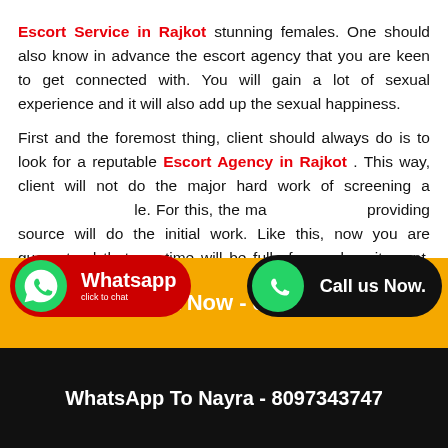Escort Service in Rajkot stunning females. One should also know in advance the escort agency that you are keen to get connected with. You will gain a lot of sexual experience and it will also add up the sexual happiness.

First and the foremost thing, client should always do is to look for a reputable Escort Agency in Rajkot . This way, client will not do the major hard work of screening a [female]. For this, the ma[in] providing source will do the initial work. Like this, now you are guaranteed that sex-time will be full of sexual excitement. Based on your budget or depth of
[Figure (infographic): WhatsApp click to chat button with green phone icon on red background]
[Figure (infographic): Call us Now button with green phone icon on black background]
Call Nayra Now - 8097343747
WhatsApp To Nayra - 8097343747